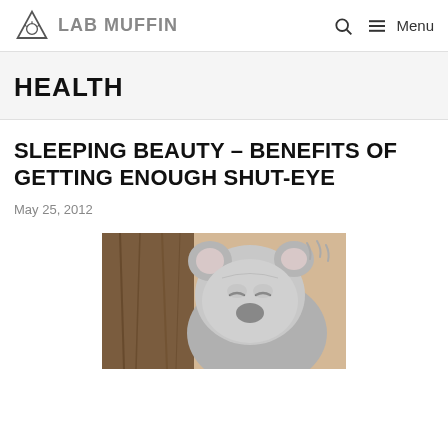LAB MUFFIN
HEALTH
SLEEPING BEAUTY – BENEFITS OF GETTING ENOUGH SHUT-EYE
May 25, 2012
[Figure (photo): A koala sleeping against a tree trunk, close-up of face with eyes closed, grey fur]